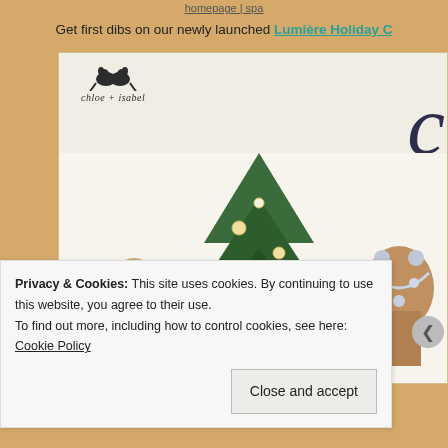homepage | spa
Get first dibs on our newly launched Lumière Holiday C
[Figure (photo): Chloe + Isabel holiday jewelry catalog cover showing brand logo with two lovebirds, a small Christmas pine tree decorated with ornaments, and several jewelry display busts showing necklaces and earrings on a light background. A large cursive letter is visible on the right side.]
Privacy & Cookies: This site uses cookies. By continuing to use this website, you agree to their use.
To find out more, including how to control cookies, see here: Cookie Policy
Close and accept